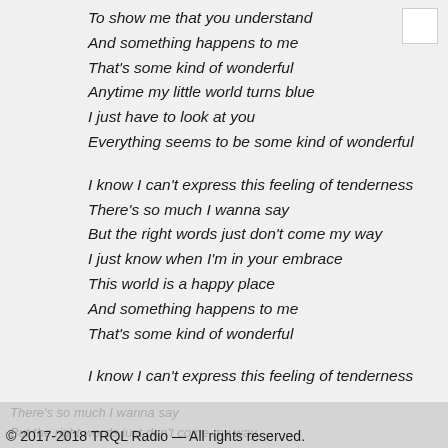To show me that you understand
And something happens to me
That's some kind of wonderful
Anytime my little world turns blue
I just have to look at you
Everything seems to be some kind of wonderful

I know I can't express this feeling of tenderness
There's so much I wanna say
But the right words just don't come my way
I just know when I'm in your embrace
This world is a happy place
And something happens to me
That's some kind of wonderful

I know I can't express this feeling of tenderness
© 2017-2018 TRQL Radio — All rights reserved.